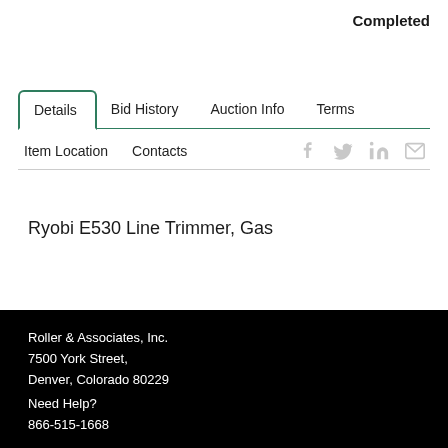Completed
Details | Bid History | Auction Info | Terms | Item Location | Contacts
Ryobi E530 Line Trimmer, Gas
Roller & Associates, Inc.
7500 York Street,
Denver, Colorado 80229

Need Help?
866-515-1668